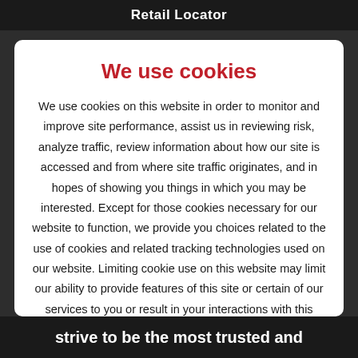Retail Locator
We use cookies
We use cookies on this website in order to monitor and improve site performance, assist us in reviewing risk, analyze traffic, review information about how our site is accessed and from where site traffic originates, and in hopes of showing you things in which you may be interested. Except for those cookies necessary for our website to function, we provide you choices related to the use of cookies and related tracking technologies used on our website. Limiting cookie use on this website may limit our ability to provide features of this site or certain of our services to you or result in your interactions with this website being limited. You should
strive to be the most trusted and